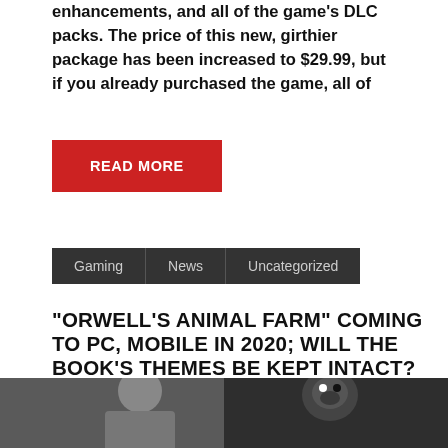enhancements, and all of the game's DLC packs. The price of this new, girthier package has been increased to $29.99, but if you already purchased the game, all of
READ MORE
Gaming | News | Uncategorized
“ORWELL’S ANIMAL FARM” COMING TO PC, MOBILE IN 2020; WILL THE BOOK’S THEMES BE KEPT INTACT?
Posted on August 18, 2020 | by Blake Worrell | Leave a comment
[Figure (photo): Black and white image showing two figures - a person and an illustrated pig character]